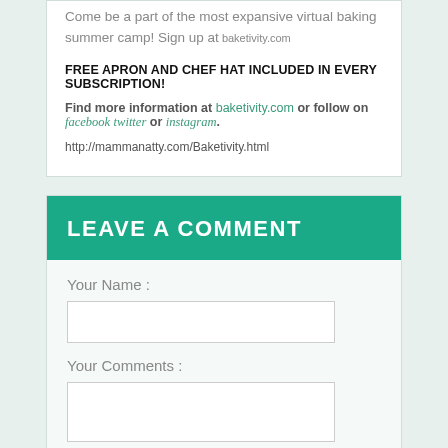Come be a part of the most expansive virtual baking summer camp! Sign up at baketivity.com
FREE APRON AND CHEF HAT INCLUDED IN EVERY SUBSCRIPTION!
Find more information at baketivity.com or follow on facebook twitter or instagram.
http://mammanatty.com/Baketivity.html
LEAVE A COMMENT
Your Name :
Your Comments :